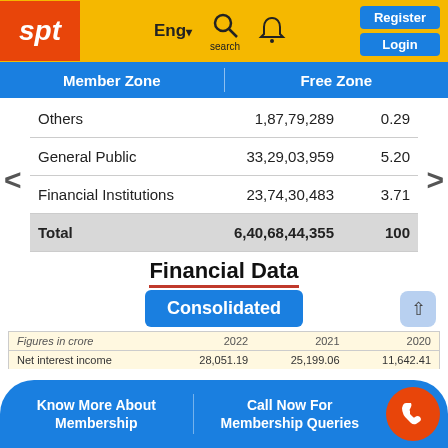spt | Eng▾ search 🔔 | Register | Login | Member Zone | Free Zone
|  |  |  |
| --- | --- | --- |
| Others | 1,87,79,289 | 0.29 |
| General Public | 33,29,03,959 | 5.20 |
| Financial Institutions | 23,74,30,483 | 3.71 |
| Total | 6,40,68,44,355 | 100 |
Financial Data
Consolidated
| Figures in crore | 2022 | 2021 | 2020 |
| --- | --- | --- | --- |
| Net interest income | 28,051.19 | 25,199.06 | 11,642.41 |
Know More About Membership
Call Now For Membership Queries